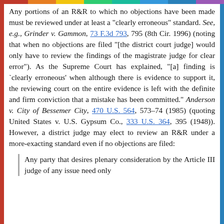Any portions of an R&R to which no objections have been made must be reviewed under at least a "clearly erroneous" standard. See, e.g., Grinder v. Gammon, 73 F.3d 793, 795 (8th Cir. 1996) (noting that when no objections are filed "[the district court judge] would only have to review the findings of the magistrate judge for clear error"). As the Supreme Court has explained, "[a] finding is 'clearly erroneous' when although there is evidence to support it, the reviewing court on the entire evidence is left with the definite and firm conviction that a mistake has been committed." Anderson v. City of Bessemer City, 470 U.S. 564, 573-74 (1985) (quoting United States v. U.S. Gypsum Co., 333 U.S. 364, 395 (1948)). However, a district judge may elect to review an R&R under a more-exacting standard even if no objections are filed:
Any party that desires plenary consideration by the Article III judge of any issue need only